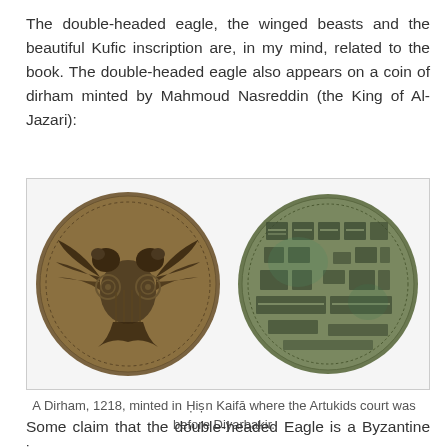The double-headed eagle, the winged beasts and the beautiful Kufic inscription are, in my mind, related to the book. The double-headed eagle also appears on a coin of dirham minted by Mahmoud Nasreddin (the King of Al-Jazari):
[Figure (photo): Two sides of an ancient dirham coin: obverse showing a double-headed eagle with wings spread and decorative border, reverse showing Kufic Arabic inscription text]
A Dirham, 1218, minted in Ḥiṣn Kaifā where the Artukids court was before Diyarbakir.
Some claim that the double-headed Eagle is a Byzantine icon,